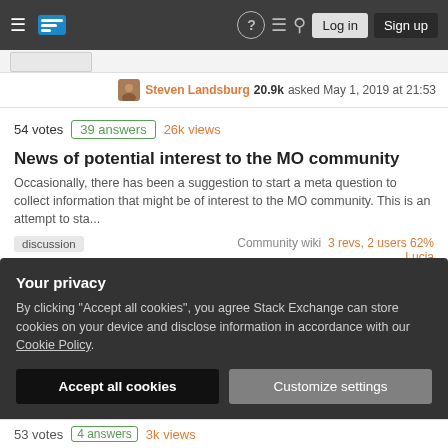Stack Exchange navigation bar with hamburger menu, logo, help, chat, search icons, Log in and Sign up buttons
Steven Landsburg 20.9k asked May 1, 2019 at 21:53
54 votes 39 answers 26k views
News of potential interest to the MO community
Occasionally, there has been a suggestion to start a meta question to collect information that might be of interest to the MO community. This is an attempt to sta...
discussion | Community wiki | 3 revs, 2 users 62% Lucia
54 votes 1 answer 689 views
Minor edits, subject to review
Your privacy
By clicking "Accept all cookies", you agree Stack Exchange can store cookies on your device and disclose information in accordance with our Cookie Policy.
Accept all cookies
Customize settings
53 votes 4 answers 3k views